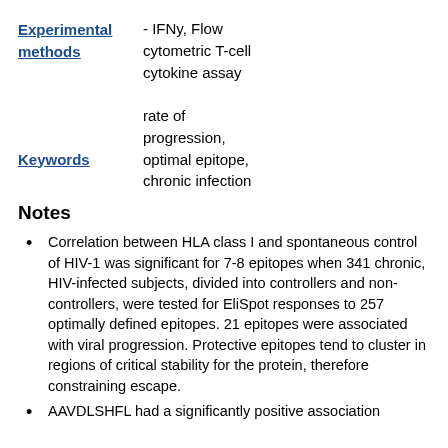Experimental methods - IFNy, Flow cytometric T-cell cytokine assay
Keywords rate of progression, optimal epitope, chronic infection
Notes
Correlation between HLA class I and spontaneous control of HIV-1 was significant for 7-8 epitopes when 341 chronic, HIV-infected subjects, divided into controllers and non-controllers, were tested for EliSpot responses to 257 optimally defined epitopes. 21 epitopes were associated with viral progression. Protective epitopes tend to cluster in regions of critical stability for the protein, therefore constraining escape.
AAVDLSHFL had a significantly positive association